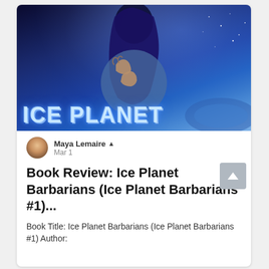[Figure (photo): Book cover of Ice Planet Barbarians showing a woman with dark blue hair embracing a blue-skinned alien figure, with the title ICE PLANET in large icy letters at the bottom, set against a dark blue starry background.]
Maya Lemaire 👑
Mar 1
Book Review: Ice Planet Barbarians (Ice Planet Barbarians #1)...
Book Title: Ice Planet Barbarians (Ice Planet Barbarians #1) Author: